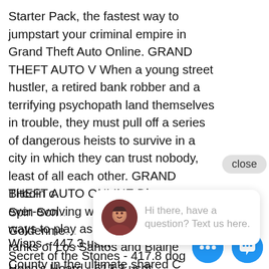Starter Pack, the fastest way to jumpstart your criminal empire in Grand Theft Auto Online. GRAND THEFT AUTO V When a young street hustler, a retired bank robber and a terrifying psychopath land themselves in trouble, they must pull off a series of dangerous heists to survive in a city in which they can trust nobody, least of all each other. GRAND THEFT AUTO ONLINE Discover an ever-evolving world of choices and ways to play as you climb the criminal ranks of Los Santos and Blaine County in the ultimate shared C
[Figure (screenshot): Close button pill with text 'close']
Bitcoin c...
Spin Son...
Goldenm...
Wisps - 447.3 usdt
Secret of the Stones - 417.8 dog
Hobo's Hoard - 613.3 usdt
English Rose - 513 bch
[Figure (screenshot): Chat widget popup with avatar photo of woman and text 'Hi there, have a question? Text us here.' with blue FAB buttons at bottom right]